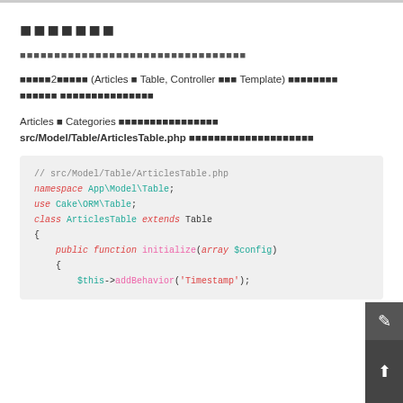■■■■■■■
■■■■■■■■■■■■■■■■■■■■■■■■■■■■■■■■■
■■■■■2■■■■■ (Articles ■ Table, Controller ■■■ Template) ■■■■■■■■
■■■■■■ ■■■■■■■■■■■■■■■
Articles ■ Categories ■■■■■■■■■■■■■■■■
src/Model/Table/ArticlesTable.php ■■■■■■■■■■■■■■■■■■■■
[Figure (screenshot): PHP code block showing src/Model/Table/ArticlesTable.php with namespace App\Model\Table, use Cake\ORM\Table, class ArticlesTable extends Table, public function initialize(array $config), $this->addBehavior('Timestamp');]